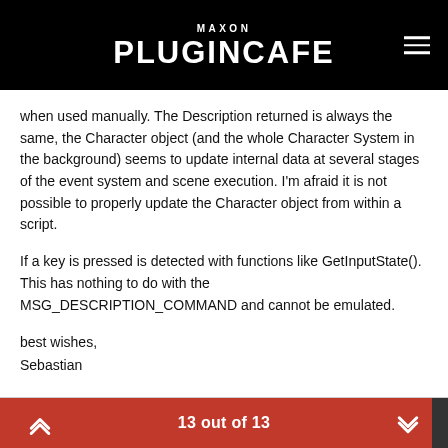MAXON PLUGINCAFE
when used manually. The Description returned is always the same, the Character object (and the whole Character System in the background) seems to update internal data at several stages of the event system and scene execution. I'm afraid it is not possible to properly update the Character object from within a script.
If a key is pressed is detected with functions like GetInputState(). This has nothing to do with the MSG_DESCRIPTION_COMMAND and cannot be emulated.
best wishes,
Sebastian
13 out of 13